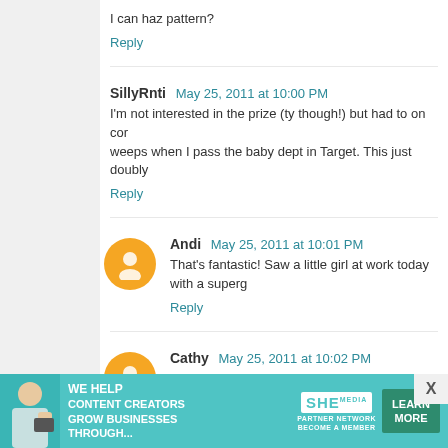I can haz pattern?
Reply
SillyRnti  May 25, 2011 at 10:00 PM
I'm not interested in the prize (ty though!) but had to on com... weeps when I pass the baby dept in Target. This just doubly...
Reply
Andi  May 25, 2011 at 10:01 PM
That's fantastic! Saw a little girl at work today with a superg...
Reply
Cathy  May 25, 2011 at 10:02 PM
Oh, goodness, the Super Baby pattern is adorable!!! I migh... And it need not be for a girl... My little geekling boy would lo...
Pirdly-- I'm pirdly sure that's a cute costume.
Reply
[Figure (infographic): Advertisement banner for SHE Media Partner Network: 'We help content creators grow businesses through...' with Learn More button]